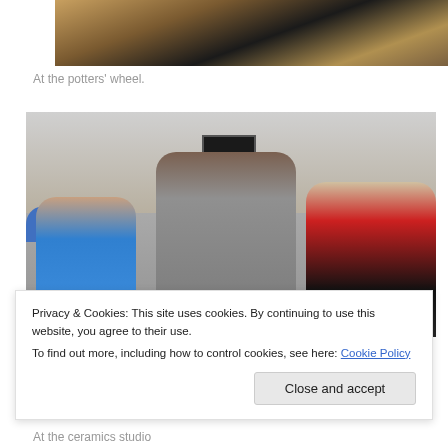[Figure (photo): Partial view of a potter's wheel with clay and yellow/brown equipment visible from above]
At the potters' wheel.
[Figure (photo): An adult man and two young boys working together at a ceramics studio pottery wheel. The child on the left wears a blue shirt, the adult in the center wears gray, and the child on the right wears a red shirt. Studio equipment and tables are visible in the background.]
Privacy & Cookies: This site uses cookies. By continuing to use this website, you agree to their use.
To find out more, including how to control cookies, see here: Cookie Policy
At the ceramics studio